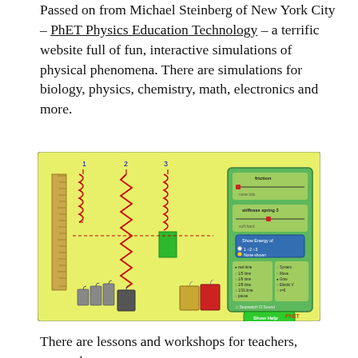Passed on from Michael Steinberg of New York City – PhET Physics Education Technology – a terrific website full of fun, interactive simulations of physical phenomena. There are simulations for biology, physics, chemistry, math, electronics and more.
[Figure (screenshot): PhET Physics Education Technology simulation screenshot showing three springs with weights attached, a ruler, and a control panel with friction and stiffness settings, spring energy display options, and playback controls on a yellow-green background.]
There are lessons and workshops for teachers, research